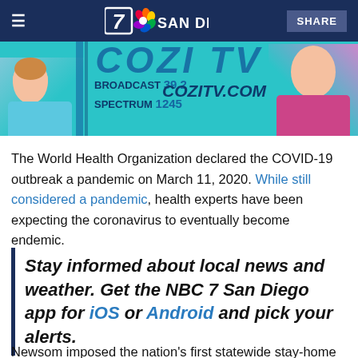7 SAN DIEGO | SHARE
[Figure (illustration): COZI TV advertisement banner with teal background showing two people and text: BROADCAST 39.2, SPECTRUM 1245, COZITV.COM]
The World Health Organization declared the COVID-19 outbreak a pandemic on March 11, 2020. While still considered a pandemic, health experts have been expecting the coronavirus to eventually become endemic.
Stay informed about local news and weather. Get the NBC 7 San Diego app for iOS or Android and pick your alerts.
Newsom imposed the nation's first statewide stay-home